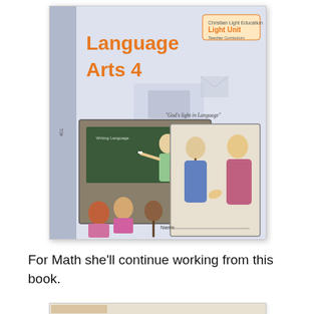[Figure (photo): Photo of a Language Arts 4 Light Unit workbook cover, showing illustrated scenes of a teacher at a chalkboard with students, and two girls conversing. Title reads 'Language Arts 4' in orange. Subtitle 'God's light in Language'. A name line at bottom.]
For Math she'll continue working from this book.